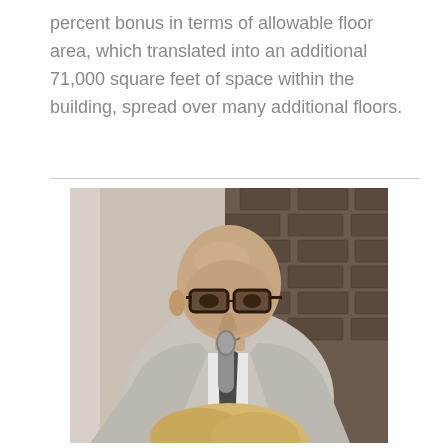percent bonus in terms of allowable floor area, which translated into an additional 71,000 square feet of space within the building, spread over many additional floors.
[Figure (photo): A bald man wearing dark-framed glasses and a light gray blazer with a dark tie speaks into a microphone. He is standing in front of a dark brick wall. Another person's head (blonde) is visible in the foreground.]